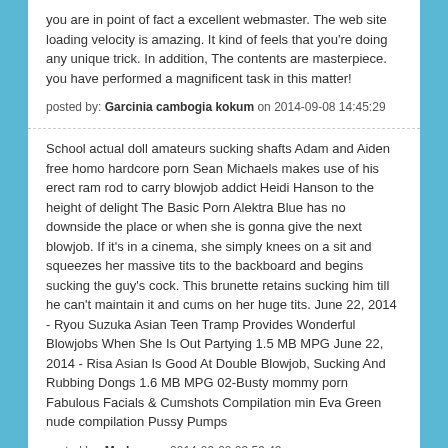you are in point of fact a excellent webmaster. The web site loading velocity is amazing. It kind of feels that you're doing any unique trick. In addition, The contents are masterpiece. you have performed a magnificent task in this matter!
posted by: Garcinia cambogia kokum on 2014-09-08 14:45:29
School actual doll amateurs sucking shafts Adam and Aiden free homo hardcore porn Sean Michaels makes use of his erect ram rod to carry blowjob addict Heidi Hanson to the height of delight The Basic Porn Alektra Blue has no downside the place or when she is gonna give the next blowjob. If it's in a cinema, she simply knees on a sit and squeezes her massive tits to the backboard and begins sucking the guy's cock. This brunette retains sucking him till he can't maintain it and cums on her huge tits. June 22, 2014 - Ryou Suzuka Asian Teen Tramp Provides Wonderful Blowjobs When She Is Out Partying 1.5 MB MPG June 22, 2014 - Risa Asian Is Good At Double Blowjob, Sucking And Rubbing Dongs 1.6 MB MPG 02-Busty mommy porn Fabulous Facials & Cumshots Compilation min Eva Green nude compilation Pussy Pumps
posted by: Marlene on 2014-09-02 23:59:43
Attractive section of content. I simply stumbled upon your blog and in accession capital to assert that I acquire actually loved account your weblog posts. Anyway I'll be subscribing for your augment and even I achievement you get right of entry to consistently rapidly.
posted by: lipo g3 garcinia cambogia reviews gnc on 2014-09-01 20:30:16